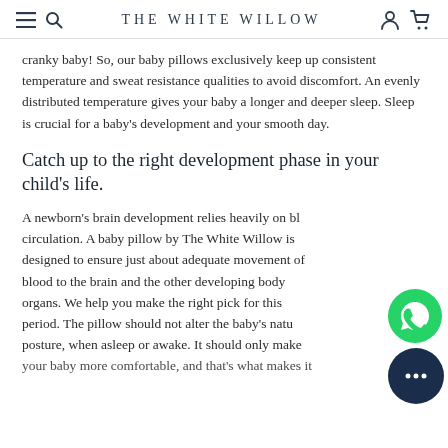THE WHITE WILLOW
cranky baby! So, our baby pillows exclusively keep up consistent temperature and sweat resistance qualities to avoid discomfort. An evenly distributed temperature gives your baby a longer and deeper sleep. Sleep is crucial for a baby's development and your smooth day.
Catch up to the right development phase in your child's life.
A newborn's brain development relies heavily on blood circulation. A baby pillow by The White Willow is designed to ensure just about adequate movement of blood to the brain and the other developing body organs. We help you make the right pick for this period. The pillow should not alter the baby's natural posture, when asleep or awake. It should only make your baby more comfortable, and that's what makes it